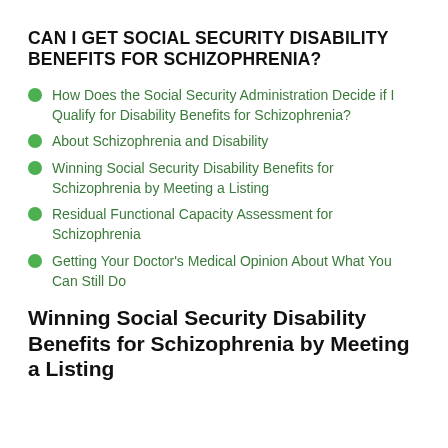CAN I GET SOCIAL SECURITY DISABILITY BENEFITS FOR SCHIZOPHRENIA?
How Does the Social Security Administration Decide if I Qualify for Disability Benefits for Schizophrenia?
About Schizophrenia and Disability
Winning Social Security Disability Benefits for Schizophrenia by Meeting a Listing
Residual Functional Capacity Assessment for Schizophrenia
Getting Your Doctor's Medical Opinion About What You Can Still Do
Winning Social Security Disability Benefits for Schizophrenia by Meeting a Listing